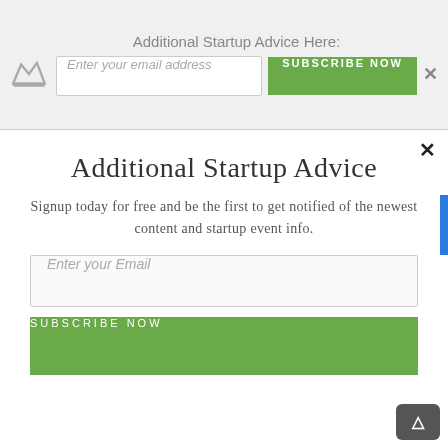Additional Startup Advice Here:
Additional Startup Advice
Signup today for free and be the first to get notified of the newest content and startup event info.
Enter your Email
SUBSCRIBE NOW
HOW TO LAUNCH YOUR OWN T-SHIRT BUSINESS
GUEST CONTRIBUTOR
ENTREPRENEURSHIP
T-shirts are more than just clothing items. In a way, people use their t-shirts to express their personalities, likes, dislikes